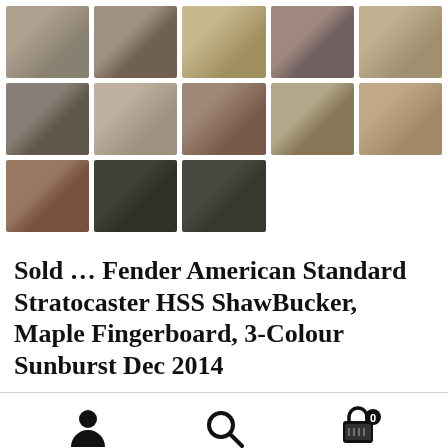[Figure (photo): Grid of 13 guitar product thumbnail photos showing a Fender American Standard Stratocaster HSS ShawBucker guitar from various angles, plus case photos. Arranged in 3 rows: 5 thumbnails, 5 thumbnails, then 3 thumbnails.]
Sold … Fender American Standard Stratocaster HSS ShawBucker, Maple Fingerboard, 3-Colour Sunburst Dec 2014
[Figure (illustration): Bottom navigation bar with three icons: a person/user icon on the left, a search/magnifying glass icon in the center, and a shopping cart icon with a badge showing '0' on the right.]